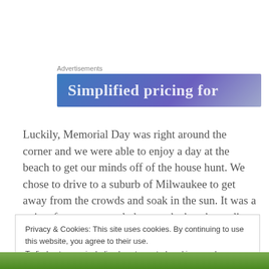[Figure (other): Advertisement banner with blue-purple gradient background and white text reading 'Simplified pricing for']
Luckily, Memorial Day was right around the corner and we were able to enjoy a day at the beach to get our minds off of the house hunt. We chose to drive to a suburb of Milwaukee to get away from the crowds and soak in the sun. It was a quiet afternoon snuggled up on the beach, reading books, and playing card games.
Privacy & Cookies: This site uses cookies. By continuing to use this website, you agree to their use.
To find out more, including how to control cookies, see here: Cookie Policy
[Figure (photo): Partial photo of green foliage/trees at the bottom of the page]